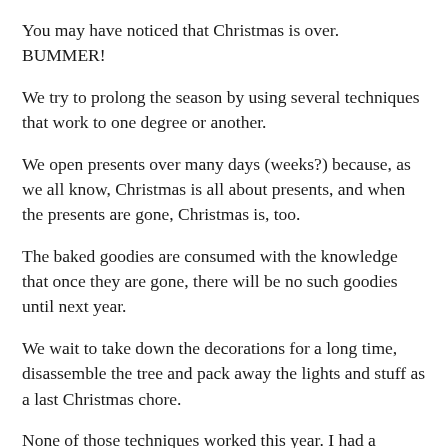You may have noticed that Christmas is over. BUMMER!
We try to prolong the season by using several techniques that work to one degree or another.
We open presents over many days (weeks?) because, as we all know, Christmas is all about presents, and when the presents are gone, Christmas is, too.
The baked goodies are consumed with the knowledge that once they are gone, there will be no such goodies until next year.
We wait to take down the decorations for a long time, disassemble the tree and pack away the lights and stuff as a last Christmas chore.
None of those techniques worked this year. I had a special gift for Rosalie and I wanted to make it a big deal, so she has to get it last, building up to it. As we open gifts alternately, they were all opened on Christmas morning, mostly because I didn't want to wait to see how she reacted. So much for stretching out the season by working our way slowly through all the gifts.
The baked goodies, even individually wrapped (and that much harder to scarf up quickly) and sparingly set out, disappeared this